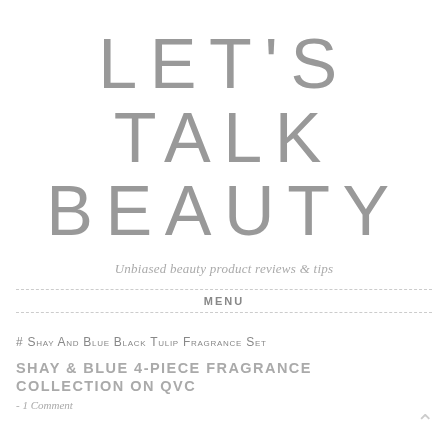LET'S TALK BEAUTY
Unbiased beauty product reviews & tips
MENU
# Shay And Blue Black Tulip Fragrance Set
SHAY & BLUE 4-PIECE FRAGRANCE COLLECTION ON QVC
- 1 Comment